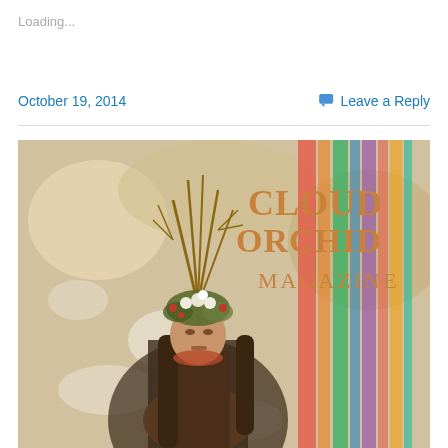Loading...
October 19, 2014
Leave a Reply
[Figure (photo): Cloud Orchid Magazine cover featuring a woman wearing an elaborate floral and branch headdress, standing in front of a colorful abstract background. The magazine title 'CLOUD ORCHID MAGAZINE' appears in large Art Deco-style letters at the top right.]